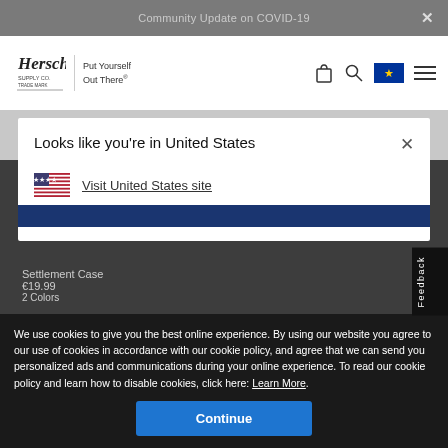Community Update on COVID-19
[Figure (logo): Herschel Supply Co. logo with tagline 'Put Yourself Out There']
Looks like you're in United States
Visit United States site
We use cookies to give you the best online experience. By using our website you agree to our use of cookies in accordance with our cookie policy, and agree that we can send you personalized ads and communications during your online experience. To read our cookie policy and learn how to disable cookies, click here: Learn More
Continue
Settlement Case
€19.99
2 Colors
Feedback